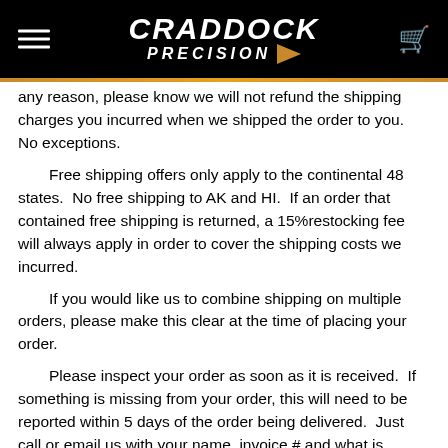CRADDOCK PRECISION
any reason, please know we will not refund the shipping charges you incurred when we shipped the order to you.  No exceptions.
Free shipping offers only apply to the continental 48 states.  No free shipping to AK and HI.  If an order that contained free shipping is returned, a 15%restocking fee will always apply in order to cover the shipping costs we incurred.
If you would like us to combine shipping on multiple orders, please make this clear at the time of placing your order.
Please inspect your order as soon as it is received.  If something is missing from your order, this will need to be reported within 5 days of the order being delivered.  Just call or email us with your name, invoice # and what is missing.  Please note we may not be able to assist with missing items that are not reported within the 5-day time frame of delivery.
Craddock Precision will not be responsible for packages returned to us that are refused delivery and you will be liable for additional